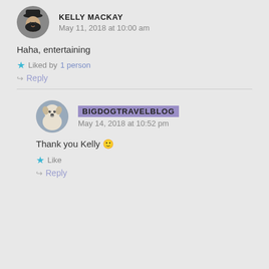[Figure (photo): Avatar of Kelly MacKay - woman with dark hair and hat]
KELLY MACKAY
May 11, 2018 at 10:00 am
Haha, entertaining
Liked by 1 person
Reply
[Figure (photo): Avatar of BigDogTravelBlog - white dog]
BIGDOGTRAVELBLOG
May 14, 2018 at 10:52 pm
Thank you Kelly 🙂
Like
Reply